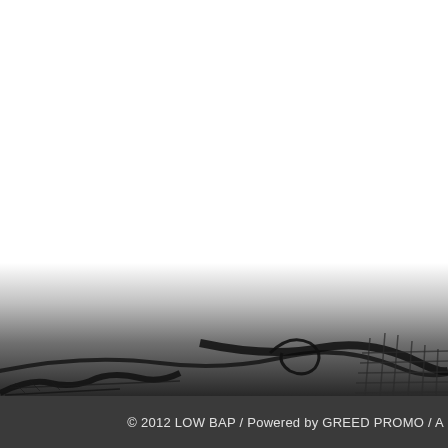[Figure (illustration): Dark artistic illustration with abstract barbed wire and curved tentacle-like forms against a dark gray background, occupying the lower portion of the page]
© 2012 LOW BAP / Powered by GREED PROMO / A